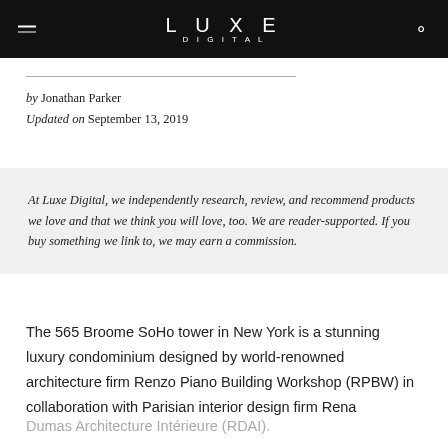LUXE DIGITAL
by Jonathan Parker
Updated on September 13, 2019
At Luxe Digital, we independently research, review, and recommend products we love and that we think you will love, too. We are reader-supported. If you buy something we link to, we may earn a commission.
The 565 Broome SoHo tower in New York is a stunning luxury condominium designed by world-renowned architecture firm Renzo Piano Building Workshop (RPBW) in collaboration with Parisian interior design firm Rena Dumas Architecture Intérieure (RDAI).